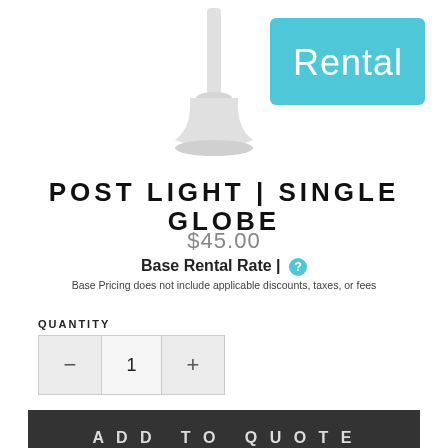[Figure (photo): Post light single globe product photo with a teal 'Rental' badge overlay in the top right]
POST LIGHT | SINGLE GLOBE
$45.00
Base Rental Rate | ?
Base Pricing does not include applicable discounts, taxes, or fees
QUANTITY
1
ADD TO QUOTE
Please make sure to include the date and location of your event in the message section when requesting your quote!